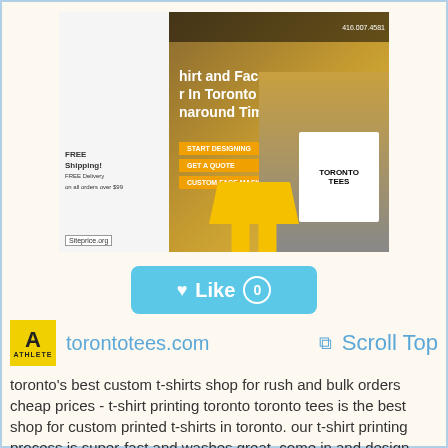[Figure (screenshot): Screenshot of torontotees.com website showing a custom t-shirt printing service with a man wearing a Toronto Tees shirt, navigation bar, phone number 416.907.4581, headline about t-shirt and face printing in Toronto with 5-day turnaround, CTA buttons (Start Designing, Get a Quote, Custom Face Masks), FREE Shipping panel, and Siteprice.org badge]
[Figure (other): Teal/cyan Like button with heart icon showing 0 likes]
[Figure (logo): Yellow square Athlete logo with large A]
torontotees.com
Scroll Top
toronto's best custom t-shirts shop for rush and bulk orders cheap prices - t-shirt printing toronto toronto tees is the best shop for custom printed t-shirts in toronto. our t-shirt printing process is super-fast and washes great. come in and design your own shirt. we